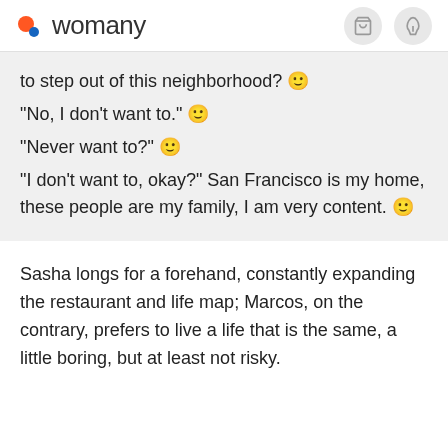womany
to step out of this neighborhood? 🙂
"No, I don't want to." 🙂
"Never want to?" 🙂
"I don't want to, okay?" San Francisco is my home, these people are my family, I am very content. 🙂
Sasha longs for a forehand, constantly expanding the restaurant and life map; Marcos, on the contrary, prefers to live a life that is the same, a little boring, but at least not risky.